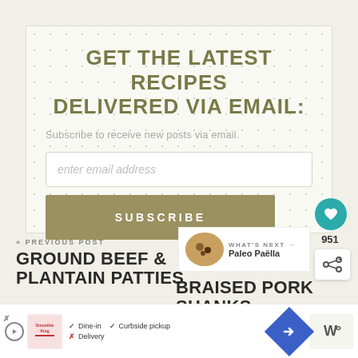GET THE LATEST RECIPES DELIVERED VIA EMAIL:
Subscribe to receive new posts via email.
enter email address
SUBSCRIBE
951
« PREVIOUS POST
GROUND BEEF & PLANTAIN PATTIES
BRAISED PORK SHANKS
WHAT'S NEXT → Paleo Paëlla
[Figure (infographic): Advertisement bar at bottom with Smoothie King logo, dine-in/curbside pickup/delivery options, navigation arrow icon, and brand icon]